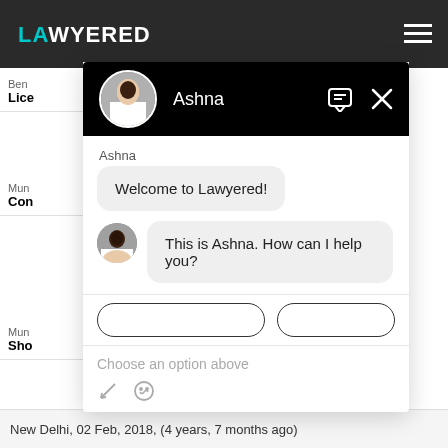[Figure (screenshot): Lawyered website screenshot with chat widget overlay. Header shows dark top bar with 'LAWYERED' logo in teal and hamburger menu. Chat widget opened by 'Ashna' showing welcome message and follow-up. Background shows lawyer listing rows and city info.]
Ashna
Welcome to Lawyered!
This is Ashna. How can I help you?
Choose an option above
New Delhi,  02 Feb, 2018,  (4 years, 7 months ago)